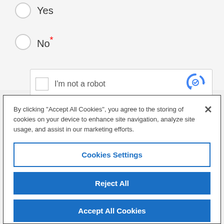Yes
No *
[Figure (screenshot): reCAPTCHA widget with checkbox and 'I'm not a robot' text and reCAPTCHA logo]
By clicking "Accept All Cookies", you agree to the storing of cookies on your device to enhance site navigation, analyze site usage, and assist in our marketing efforts.
Cookies Settings
Reject All
Accept All Cookies